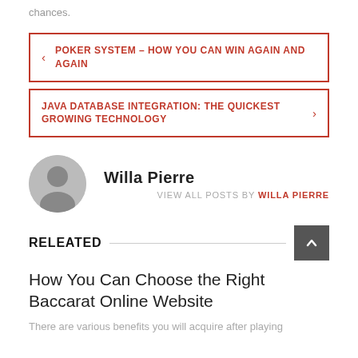chances.
POKER SYSTEM – HOW YOU CAN WIN AGAIN AND AGAIN
JAVA DATABASE INTEGRATION: THE QUICKEST GROWING TECHNOLOGY
Willa Pierre
VIEW ALL POSTS BY WILLA PIERRE
RELEATED
How You Can Choose the Right Baccarat Online Website
There are various benefits you will acquire after playing